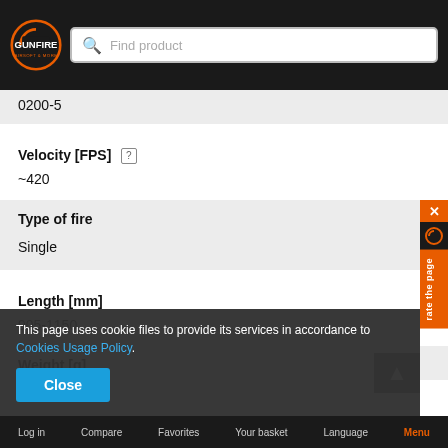GUNFIRE AIRSOFT & MORE
0200-5
Velocity [FPS]
~420
Type of fire
Single
Length [mm]
905-1150
Weight [g]
This page uses cookie files to provide its services in accordance to Cookies Usage Policy.
Log in | Compare | Favorites | Your basket | Language | Menu